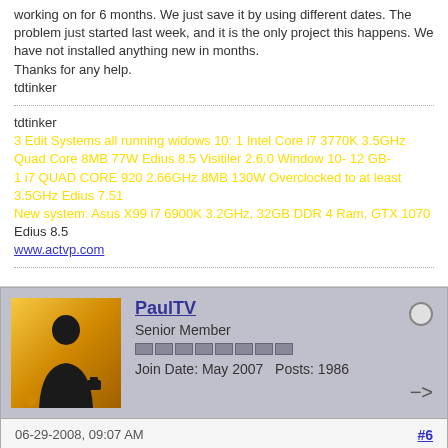working on for 6 months. We just save it by using different dates. The problem just started last week, and it is the only project this happens. We have not installed anything new in months. Thanks for any help. tdtinker
tdtinker
3 Edit Systems all running widows 10: 1 Intel Core i7 3770K 3.5GHz Quad Core 8MB 77W Edius 8.5 Visitiler 2.6.0 Window 10- 12 GB- 1 i7 QUAD CORE 920 2.66GHz 8MB 130W Overclocked to at least 3.5GHz Edius 7.51 New system: Asus X99 i7 6900K 3.2GHz, 32GB DDR 4 Ram, GTX 1070 Edius 8.5 www.actvp.com
PaulTV
Senior Member
Join Date: May 2007   Posts: 1986
06-29-2008, 09:07 AM  #6
This used to happen to me, but has stopped since complete